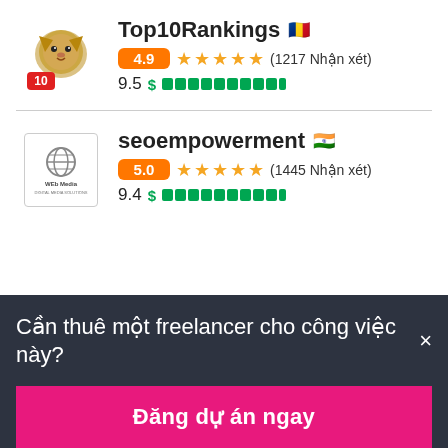[Figure (logo): Top10Rankings lion logo with red '10' badge]
Top10Rankings 🇷🇴
4.9 ★★★★★ (1217 Nhận xét)
9.5 $ ██████████
[Figure (logo): seoempowerment Web Media circular logo]
seoempowerment 🇮🇳
5.0 ★★★★★ (1445 Nhận xét)
9.4 $ ██████████
Cần thuê một freelancer cho công việc này?×
Đăng dự án ngay